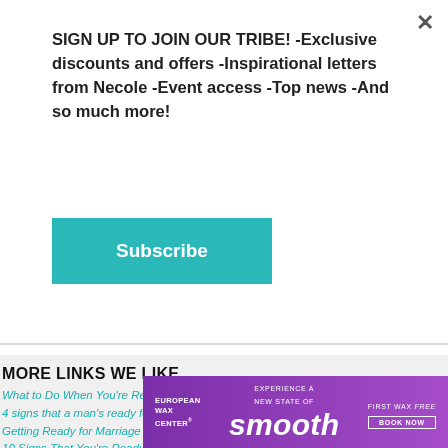SIGN UP TO JOIN OUR TRIBE! -Exclusive discounts and offers -Inspirational letters from Necole -Event access -Top news -And so much more!
Subscribe
MORE LINKS WE LIKE
What to Do When You're Ready for Marriage and Your Partner Isn't ›
4 signs that a man's ready for marriage – and 4 that he's not ›
Getting Ready for Marriage Workbook: Jim Burns, Doug Fields ... ›
10 Signs That You're Ready For Marriage ›
He Says He's Not Ready for Marriage. Should I Wait? - Verily ›
3 Ways to Tell He Is Ready for a Relationship and Marriage ... ›
17 Signs You're Ready for Marriage ›
[Figure (illustration): European Wax Center advertisement banner: purple gradient background with 'EXPERIENCE A NEW STATE OF smooth' text and 'FIRST WAX free BOOK NOW' call to action.]